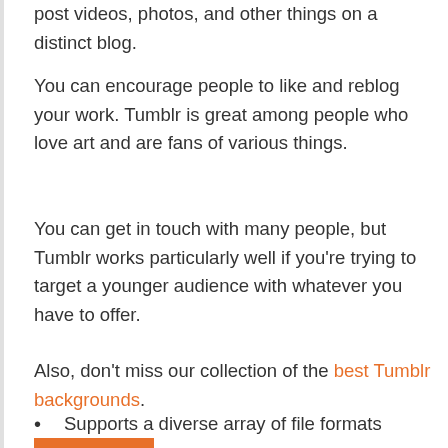post videos, photos, and other things on a distinct blog.
You can encourage people to like and reblog your work. Tumblr is great among people who love art and are fans of various things.
You can get in touch with many people, but Tumblr works particularly well if you're trying to target a younger audience with whatever you have to offer.
Also, don't miss our collection of the best Tumblr backgrounds.
Supports a diverse array of file formats
You can register for an account with Tumblr in moments